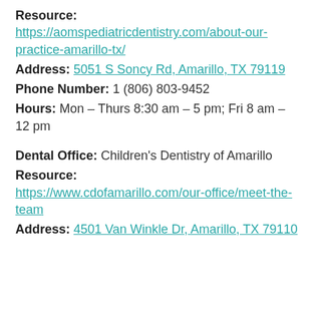Resource: https://aomspediatricdentistry.com/about-our-practice-amarillo-tx/
Address: 5051 S Soncy Rd, Amarillo, TX 79119
Phone Number: 1 (806) 803-9452
Hours: Mon – Thurs 8:30 am – 5 pm; Fri 8 am – 12 pm
Dental Office: Children's Dentistry of Amarillo
Resource: https://www.cdofamarillo.com/our-office/meet-the-team
Address: 4501 Van Winkle Dr, Amarillo, TX 79110